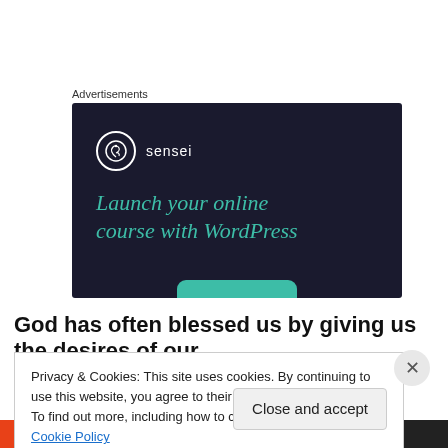Advertisements
[Figure (illustration): Sensei advertisement banner on dark navy background: Sensei logo (tree icon in white circle) with text 'sensei', headline 'Launch your online course with WordPress' in teal/green italic font, with a teal CTA button partially visible at the bottom.]
God has often blessed us by giving us the desires of our
Privacy & Cookies: This site uses cookies. By continuing to use this website, you agree to their use.
To find out more, including how to control cookies, see here: Cookie Policy
Close and accept
[Figure (screenshot): Bottom bar showing two advertisements: left side red background with 'All in One Free App', right side dark background with 'DuckDuckGo']